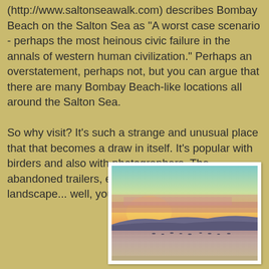(http://www.saltonseawalk.com) describes Bombay Beach on the Salton Sea as "A worst case scenario - perhaps the most heinous civic failure in the annals of western human civilization." Perhaps an overstatement, perhaps not, but you can argue that there are many Bombay Beach-like locations all around the Salton Sea.

So why visit? It's such a strange and unusual place that that becomes a draw in itself. It's popular with birders and also with photographers. The abandoned trailers, eccentric people, alien landscape... well, you get the picture.
[Figure (photo): Sunset over the Salton Sea with orange and pink sky, distant mountains silhouetted, and birds visible on the water in the foreground.]